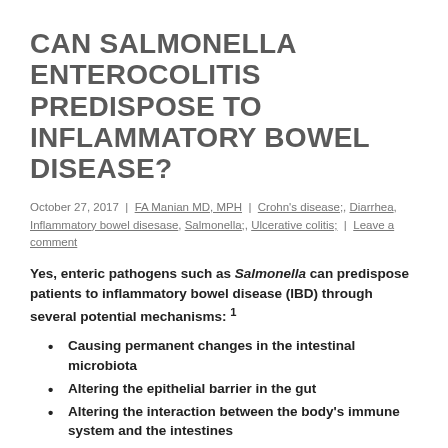CAN SALMONELLA ENTEROCOLITIS PREDISPOSE TO INFLAMMATORY BOWEL DISEASE?
October 27, 2017  |  FA Manian MD, MPH  |  Crohn's disease;, Diarrhea, Inflammatory bowel disesase, Salmonella;, Ulcerative colitis;  |  Leave a comment
Yes, enteric pathogens such as Salmonella can predispose patients to inflammatory bowel disease (IBD) through several potential mechanisms: 1
Causing permanent changes in the intestinal microbiota
Altering the epithelial barrier in the gut
Altering the interaction between the body's immune system and the intestines